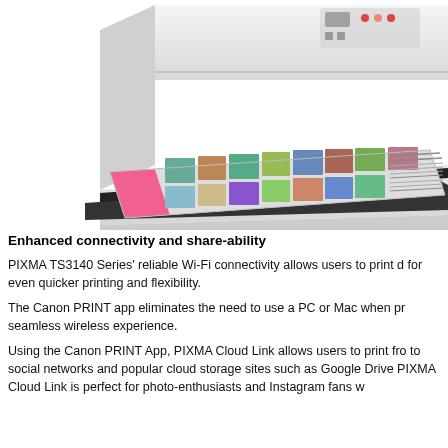[Figure (photo): Canon PIXMA TS3140 Series white inkjet printer with a colorful photo page being output from the paper tray. The Canon logo is visible on the front of the printer.]
Enhanced connectivity and share-ability
PIXMA TS3140 Series' reliable Wi-Fi connectivity allows users to print directly from their mobile devices, for even quicker printing and flexibility.
The Canon PRINT app eliminates the need to use a PC or Mac when printing or scanning, for a seamless wireless experience.
Using the Canon PRINT App, PIXMA Cloud Link allows users to print from and scan to social networks and popular cloud storage sites such as Google Drive. PIXMA Cloud Link is perfect for photo-enthusiasts and Instagram fans w...